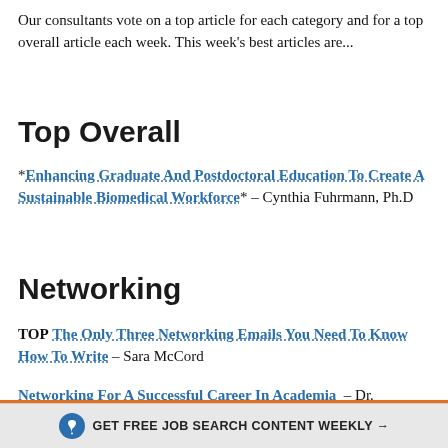Our consultants vote on a top article for each category and for a top overall article each week. This week's best articles are...
Top Overall
*Enhancing Graduate And Postdoctoral Education To Create A Sustainable Biomedical Workforce* – Cynthia Fuhrmann, Ph.D
Networking
TOP The Only Three Networking Emails You Need To Know How To Write – Sara McCord
Networking For A Successful Career In Academia – Dr. ...
GET FREE JOB SEARCH CONTENT WEEKLY →